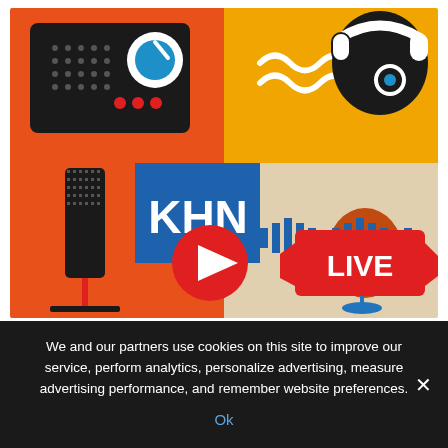[Figure (illustration): KHN podcast illustration showing a radio, microphone, headphones silhouette, live video icon, play button, and sound waves on a colorful mosaic background in red, orange, blue, and beige.]
Journalist Puts in a Plug for Better Sleep Cycles During the Pandemic
We and our partners use cookies on this site to improve our service, perform analytics, personalize advertising, measure advertising performance, and remember website preferences.
Ok